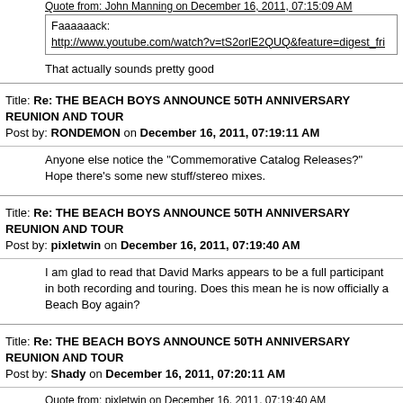Quote from: John Manning on December 16, 2011, 07:15:09 AM
Faaaaaack:
http://www.youtube.com/watch?v=tS2orlE2QUQ&feature=digest_fri
That actually sounds pretty good
Title: Re: THE BEACH BOYS ANNOUNCE 50TH ANNIVERSARY REUNION AND TOUR
Post by: RONDEMON on December 16, 2011, 07:19:11 AM
Anyone else notice the "Commemorative Catalog Releases?"
Hope there's some new stuff/stereo mixes.
Title: Re: THE BEACH BOYS ANNOUNCE 50TH ANNIVERSARY REUNION AND TOUR
Post by: pixletwin on December 16, 2011, 07:19:40 AM
I am glad to read that David Marks appears to be a full participant in both recording and touring. Does this mean he is now officially a Beach Boy again?
Title: Re: THE BEACH BOYS ANNOUNCE 50TH ANNIVERSARY REUNION AND TOUR
Post by: Shady on December 16, 2011, 07:20:11 AM
Quote from: pixletwin on December 16, 2011, 07:19:40 AM
I am glad to read that David Marks appears to be a full participant in both recording and touring. Does this mean he is now officially a Beach Boy again?